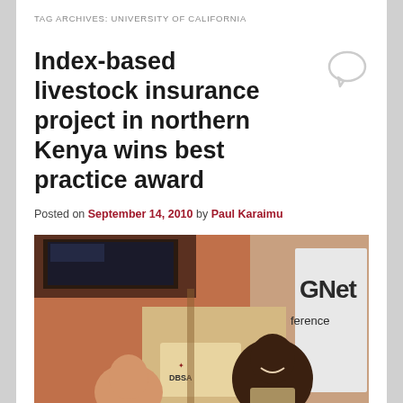TAG ARCHIVES: UNIVERSITY OF CALIFORNIA
Index-based livestock insurance project in northern Kenya wins best practice award
Posted on September 14, 2010 by Paul Karaimu
[Figure (photo): Two men at a conference, one smiling broadly, standing in front of a banner showing 'GNet' and 'ference' (conference), with a DBSA logo visible on a podium. Conference room setting with TV screen in background.]